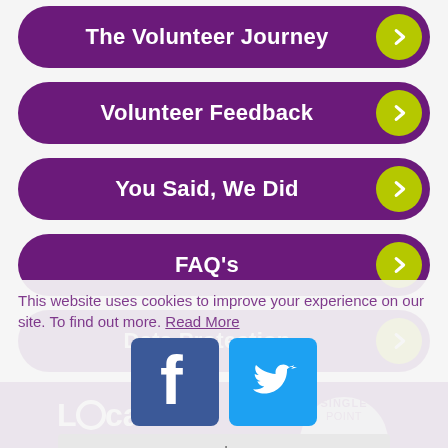The Volunteer Journey
Volunteer Feedback
You Said, We Did
FAQ's
Data Protection
This website uses cookies to improve your experience on our site. To find out more. Read More
[Figure (logo): Facebook icon - blue square with white f letter]
[Figure (logo): Twitter icon - light blue square with white bird]
[Figure (logo): Locala logo in white text on purple background]
[Figure (logo): SinglePoint logo - white text with circle on purple background]